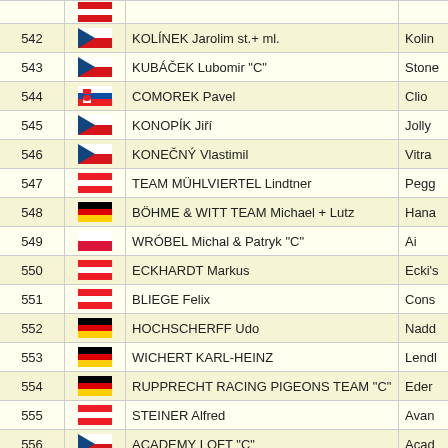| # | Flag | Name | ... |
| --- | --- | --- | --- |
| 542 | CZ | KOLÍNEK Jarolim st.+ ml. | Kolin... |
| 543 | CZ | KUBÁČEK Lubomir "C" | Stone... |
| 544 | SK | COMOREK Pavel | Clio |
| 545 | CZ | KONOPÍK Jiří | Jolly |
| 546 | CZ | KONEČNÝ Vlastimil | Vitra |
| 547 | AT | TEAM MÜHLVIERTEL Lindtner | Pegg... |
| 548 | DE | BÖHME & WITT TEAM Michael + Lutz | Hana... |
| 549 | PL | WRÓBEL Michal & Patryk "C" | Ai |
| 550 | AT | ECKHARDT Markus | Ecki's... |
| 551 | AT | BLIEGE Felix | Cons... |
| 552 | DE | HOCHSCHERFF Udo | Nadd... |
| 553 | DE | WICHERT KARL-HEINZ | Lendl... |
| 554 | DE | RUPPRECHT RACING PIGEONS TEAM "C" | Eder |
| 555 | AT | STEINER Alfred | Avan... |
| 556 | CZ | ACADEMY LOFT "C" | Acad... |
| 557 | DE | BRANDT Daniel ORL | Rudi |
| 558 | CH | VALOFT Swiss Racing Pigeons | Sohn... |
| 559 | DE | RÖDERTALFLIEGER TREPTE Team | Austr... |
| 560 | ... | ... | ... |